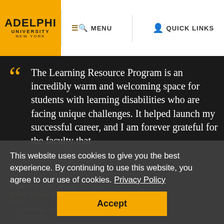[Figure (logo): Adelphi University New York logo on gold/yellow background]
MENU   QUICK LINKS
The Learning Resource Program is an incredibly warm and welcoming space for students with learning disabilities who are facing unique challenges. It helped launch my successful career, and I am forever grateful for the faculty that
This website uses cookies to give you the best experience. By continuing to use this website, you agree to our use of cookies. Privacy Policy
North Jersey Community Research Initiative
Member ... y Council, Adelphi University
Accept